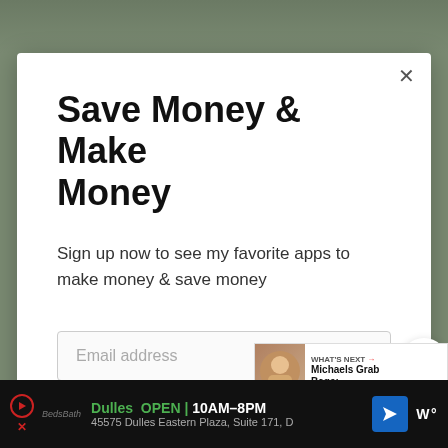[Figure (screenshot): Background webpage with blurred/dark greenish image content behind a modal popup]
Save Money & Make Money
Sign up now to see my favorite apps to make money & save money
Email address
Get It Now
WHAT'S NEXT → Michaels Grab Bags:...
Dulles  OPEN | 10AM–8PM   45575 Dulles Eastern Plaza, Suite 171, D